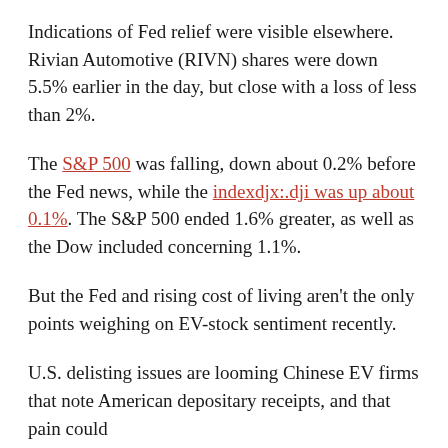Indications of Fed relief were visible elsewhere. Rivian Automotive (RIVN) shares were down 5.5% earlier in the day, but close with a loss of less than 2%.
The S&P 500 was falling, down about 0.2% before the Fed news, while the indexdjx:.dji was up about 0.1%. The S&P 500 ended 1.6% greater, as well as the Dow included concerning 1.1%.
But the Fed and rising cost of living aren't the only points weighing on EV-stock sentiment recently.
U.S. delisting issues are looming Chinese EV firms that note American depositary receipts, and that pain could